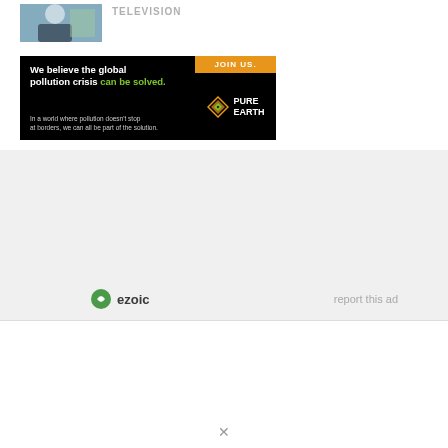[Figure (photo): Thumbnail photo of a person in dark clothing, partial view]
TELEVISION
[Figure (infographic): Pure Earth advertisement banner: 'We believe the global pollution crisis can be solved.' with JOIN US button and Pure Earth logo]
[Figure (logo): Ezoic logo with green circular icon]
report this ad